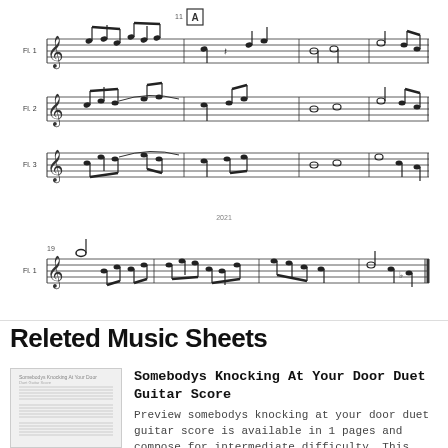[Figure (illustration): Music sheet notation for a piece arranged for 3 flutes (Fl.1, Fl.2, Fl.3) showing musical staves with notes, ties, and a rehearsal mark 'A'. Below is a second system showing Fl.1 part with additional measures.]
Releted Music Sheets
[Figure (illustration): Thumbnail image of sheet music for Somebodys Knocking At Your Door Duet Guitar Score]
Somebodys Knocking At Your Door Duet Guitar Score
Preview somebodys knocking at your door duet guitar score is available in 1 pages and compose for intermediate difficulty. This music sheet has
[Figure (illustration): Thumbnail image of sheet music for Somebodys Knocking At Your Door Duet Guitar Tablature]
Somebodys Knocking At Your Door Duet Guitar Tablature
Preview somebodys knocking at your door duet